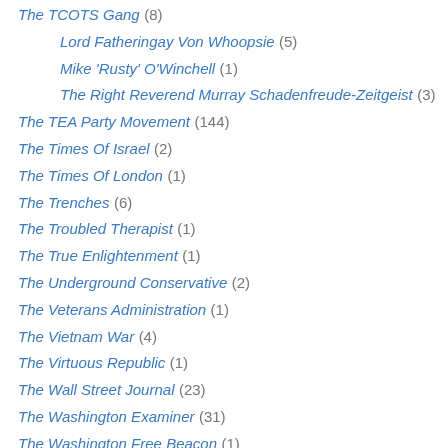The TCOTS Gang (8)
Lord Fatheringay Von Whoopsie (5)
Mike 'Rusty' O'Winchell (1)
The Right Reverend Murray Schadenfreude-Zeitgeist (3)
The TEA Party Movement (144)
The Times Of Israel (2)
The Times Of London (1)
The Trenches (6)
The Troubled Therapist (1)
The True Enlightenment (1)
The Underground Conservative (2)
The Veterans Administration (1)
The Vietnam War (4)
The Virtuous Republic (1)
The Wall Street Journal (23)
The Washington Examiner (31)
The Washington Free Beacon (1)
The Washington Post (45)
The Washington Sentinel (1)
The Washington Times (29)